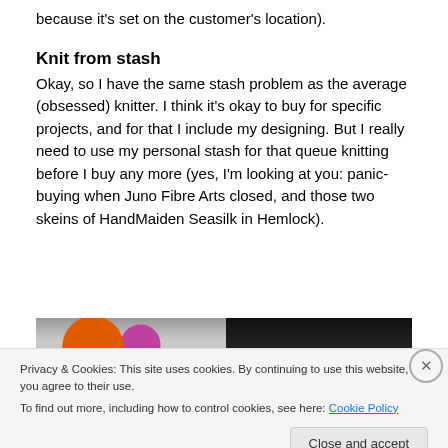because it's set on the customer's location).
Knit from stash
Okay, so I have the same stash problem as the average (obsessed) knitter. I think it's okay to buy for specific projects, and for that I include my designing. But I really need to use my personal stash for that queue knitting before I buy any more (yes, I'm looking at you: panic-buying when Juno Fibre Arts closed, and those two skeins of HandMaiden Seasilk in Hemlock).
[Figure (photo): Two side-by-side photos, left showing colorful yarn skeins with orange and pink/purple hues on a dark background, right showing a dark/black image.]
Privacy & Cookies: This site uses cookies. By continuing to use this website, you agree to their use. To find out more, including how to control cookies, see here: Cookie Policy
Close and accept